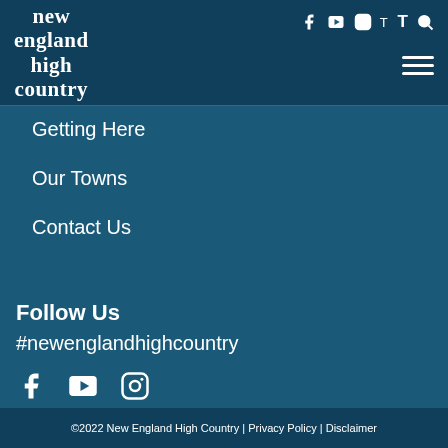new england high country
Getting Here
Our Towns
Contact Us
Follow Us
#newenglandhighcountry
©2022 New England High Country | Privacy Policy | Disclaimer